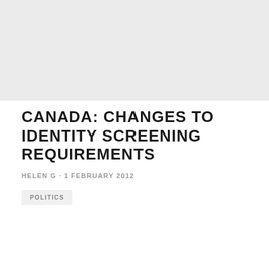[Figure (other): Gray banner image placeholder at top of page]
CANADA: CHANGES TO IDENTITY SCREENING REQUIREMENTS
HELEN G · 1 FEBRUARY 2012
POLITICS